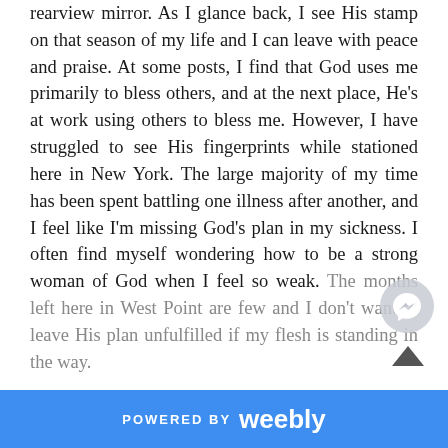rearview mirror. As I glance back, I see His stamp on that season of my life and I can leave with peace and praise. At some posts, I find that God uses me primarily to bless others, and at the next place, He's at work using others to bless me. However, I have struggled to see His fingerprints while stationed here in New York. The large majority of my time has been spent battling one illness after another, and I feel like I'm missing God's plan in my sickness. I often find myself wondering how to be a strong woman of God when I feel so weak. The months left here in West Point are few and I don't want to leave His plan unfulfilled if my flesh is standing in the way.
POWERED BY weebly